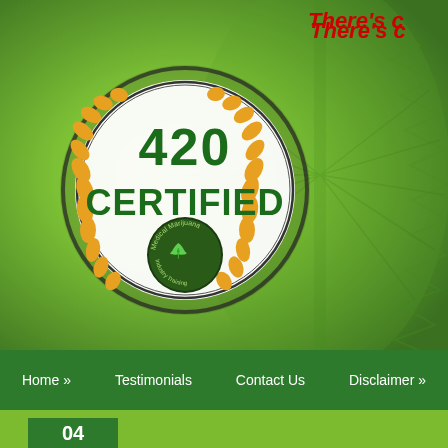[Figure (illustration): Hero banner with green cannabis leaf background and blurred bokeh, showing a '420 Certified Medical Marijuana Industry Training' round badge/logo with golden laurel wreath, black circle border, green text '420 CERTIFIED', and a small cannabis leaf emblem at the bottom center]
There's c
Home »   Testimonials   Contact Us   Disclaimer »
04